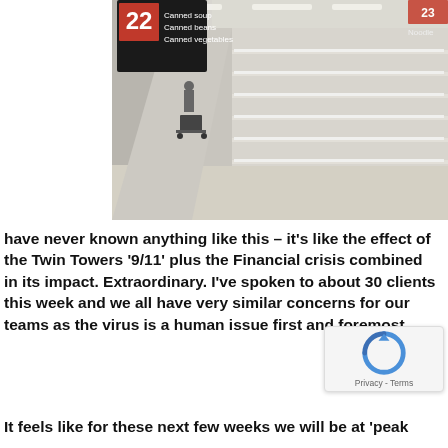[Figure (photo): Photo of empty supermarket shelves in the canned goods aisle (aisle 22, showing canned soup, canned beans, canned vegetables). The shelves are completely bare. A person with a shopping cart is visible in the background.]
have never known anything like this – it's like the effect of the Twin Towers '9/11' plus the Financial crisis combined in its impact. Extraordinary. I've spoken to about 30 clients this week and we all have very similar concerns for our teams as the virus is a human issue first and foremost.
It feels like for these next few weeks we will be at 'peak